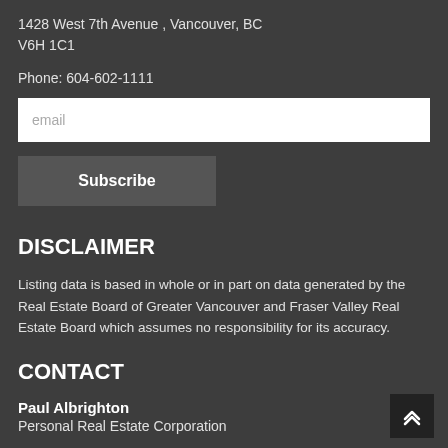1428 West 7th Avenue , Vancouver, BC
V6H 1C1
Phone: 604-602-1111
email
Subscribe
DISCLAIMER
Listing data is based in whole or in part on data generated by the Real Estate Board of Greater Vancouver and Fraser Valley Real Estate Board which assumes no responsibility for its accuracy.
CONTACT
Paul Albrighton
Personal Real Estate Corporation